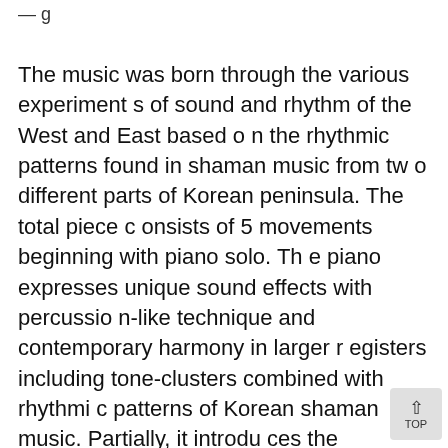— g
The music was born through the various experiments of sound and rhythm of the West and East based on the rhythmic patterns found in shaman music from two different parts of Korean peninsula. The total piece consists of 5 movements beginning with piano solo. The piano expresses unique sound effects with percussion-like technique and contemporary harmony in larger registers including tone-clusters combined with rhythmic patterns of Korean shaman music. Partially, it introduces the presentation of musical material, repeat, and minimal-composition method by progressive change. This work conveys many massages such as the chaos of virus clusters, shock, halt, recovery, consolation, hope, and overcome under widely spread COVID-1